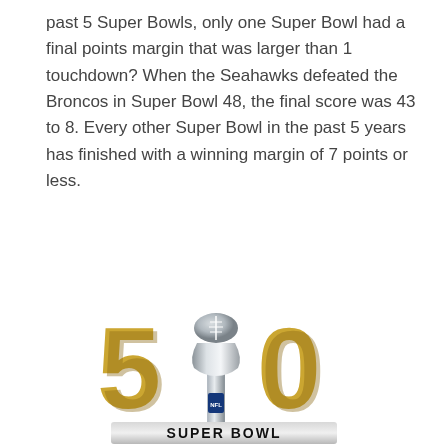past 5 Super Bowls, only one Super Bowl had a final points margin that was larger than 1 touchdown? When the Seahawks defeated the Broncos in Super Bowl 48, the final score was 43 to 8. Every other Super Bowl in the past 5 years has finished with a winning margin of 7 points or less.
[Figure (logo): Super Bowl 50 official logo featuring the Vince Lombardi Trophy between a golden '5' and '0', with city skyline silhouettes, a silver banner reading 'SUPER BOWL', and text below reading 'SAN FRANCISCO BAY AREA 02.07.2016']